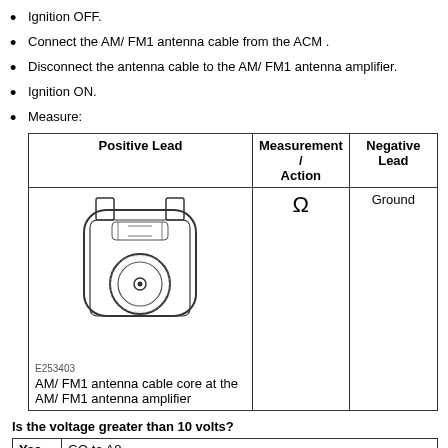Ignition OFF.
Connect the AM/ FM1 antenna cable from the ACM .
Disconnect the antenna cable to the AM/ FM1 antenna amplifier.
Ignition ON.
Measure:
| Positive Lead | Measurement / Action | Negative Lead |
| --- | --- | --- |
| AM/ FM1 antenna cable core at the AM/ FM1 antenna amplifier [diagram E253403] | Ω | Ground |
Is the voltage greater than 10 volts?
|  |  |
| --- | --- |
| Yes | GO to A8 |